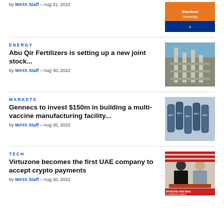by WAYA Staff – Aug 31, 2022
[Figure (photo): Stanford University logo/banner image (orange and blue)]
ENERGY
Abu Qir Fertilizers is setting up a new joint stock...
by WAYA Staff – Aug 30, 2022
[Figure (photo): Aerial view of a fertilizer industrial plant]
MARKETS
Gennecs to invest $150m in building a multi-vaccine manufacturing facility...
by WAYA Staff – Aug 30, 2022
[Figure (photo): Close-up of multiple vaccine vials]
TECH
Virtuzone becomes the first UAE company to accept crypto payments
by WAYA Staff – Aug 30, 2022
[Figure (photo): Two men at a signing table with VIRTUZONE AND BINANCE STRATEGIC PARTNERSHIP banner]